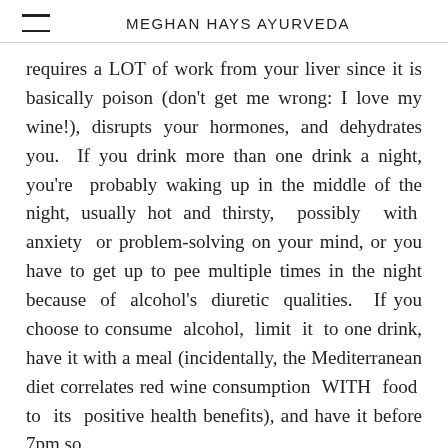MEGHAN HAYS AYURVEDA
requires a LOT of work from your liver since it is basically poison (don’t get me wrong: I love my wine!), disrupts your hormones, and dehydrates you.  If you drink more than one drink a night, you’re probably waking up in the middle of the night, usually hot and thirsty, possibly with anxiety or problem-solving on your mind, or you have to get up to pee multiple times in the night because of alcohol’s diuretic qualities.  If you choose to consume alcohol, limit it to one drink, have it with a meal (incidentally, the Mediterranean diet correlates red wine consumption WITH food to its positive health benefits), and have it before 7pm so